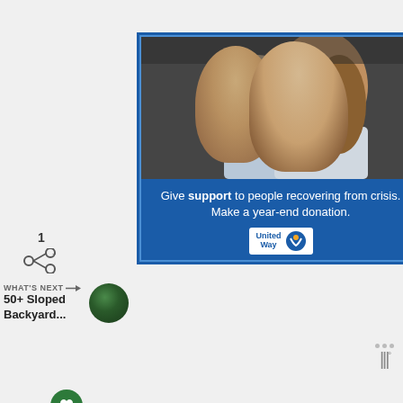[Figure (photo): United Way advertisement showing a mother kissing her child's head with text 'Give support to people recovering from crisis. Make a year-end donation.' and United Way logo]
[Figure (infographic): Heart/like button (green circle with heart icon) showing count of 1, and share button below]
1
WHAT'S NEXT → 50+ Sloped Backyard...
[Figure (photo): Thumbnail image for '50+ Sloped Backyard...' article]
[Figure (infographic): No Kid Hungry advertisement with orange background: 'You can help hungry kids.' with No Kid Hungry logo and 'LEARN HOW' button]